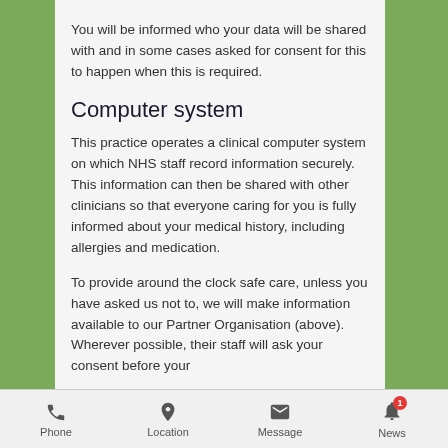You will be informed who your data will be shared with and in some cases asked for consent for this to happen when this is required.
Computer system
This practice operates a clinical computer system on which NHS staff record information securely. This information can then be shared with other clinicians so that everyone caring for you is fully informed about your medical history, including allergies and medication.
To provide around the clock safe care, unless you have asked us not to, we will make information available to our Partner Organisation (above).  Wherever possible, their staff will ask your consent before your
Phone  Location  Message  News